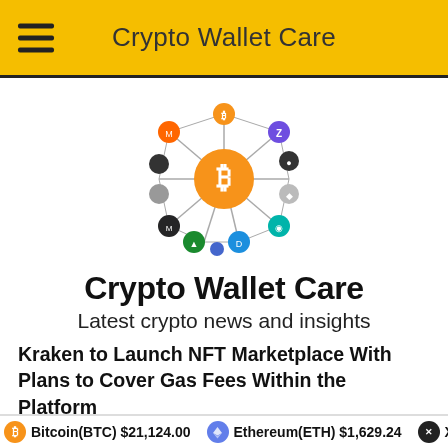Crypto Wallet Care
[Figure (logo): Crypto network logo with Bitcoin at center surrounded by various cryptocurrency coin icons connected by lines]
Crypto Wallet Care
Latest crypto news and insights
Kraken to Launch NFT Marketplace With Plans to Cover Gas Fees Within the Platform
Bitcoin(BTC) $21,124.00   Ethereum(ETH) $1,629.24   XR...